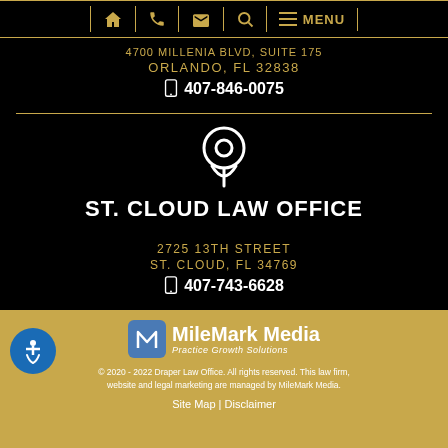[Figure (screenshot): Navigation bar with home, phone, email, search, and menu icons in gold on black background]
4700 MILLENIA BLVD, SUITE 175
ORLANDO, FL 32838
407-846-0075
ST. CLOUD LAW OFFICE
2725 13TH STREET
ST. CLOUD, FL 34769
407-743-6628
[Figure (logo): MileMark Media Practice Growth Solutions logo]
© 2020 - 2022 Draper Law Office. All rights reserved. This law firm, website and legal marketing are managed by MileMark Media.
Site Map | Disclaimer